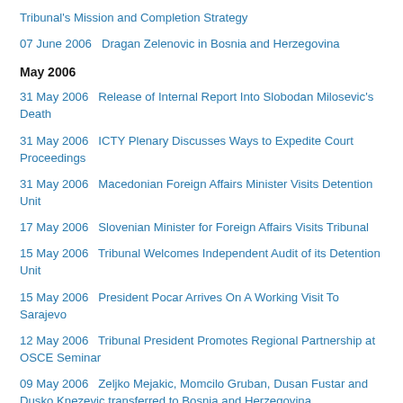Tribunal's Mission and Completion Strategy
07 June 2006   Dragan Zelenovic in Bosnia and Herzegovina
May 2006
31 May 2006   Release of Internal Report Into Slobodan Milosevic's Death
31 May 2006   ICTY Plenary Discusses Ways to Expedite Court Proceedings
31 May 2006   Macedonian Foreign Affairs Minister Visits Detention Unit
17 May 2006   Slovenian Minister for Foreign Affairs Visits Tribunal
15 May 2006   Tribunal Welcomes Independent Audit of its Detention Unit
15 May 2006   President Pocar Arrives On A Working Visit To Sarajevo
12 May 2006   Tribunal President Promotes Regional Partnership at OSCE Seminar
09 May 2006   Zeljko Mejakic, Momcilo Gruban, Dusan Fustar and Dusko Knezevic transferred to Bosnia and Herzegovina